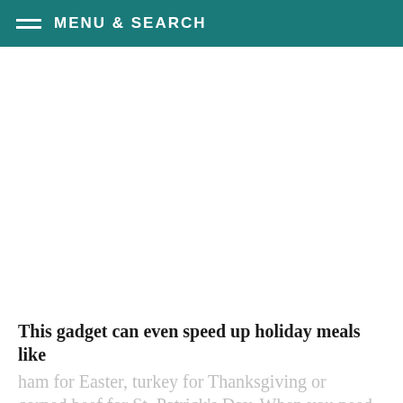MENU & SEARCH
[Figure (photo): Large white/blank image area below the navigation header]
This gadget can even speed up holiday meals like ham for Easter, turkey for Thanksgiving or corned beef for St. Patrick's Day. When you need